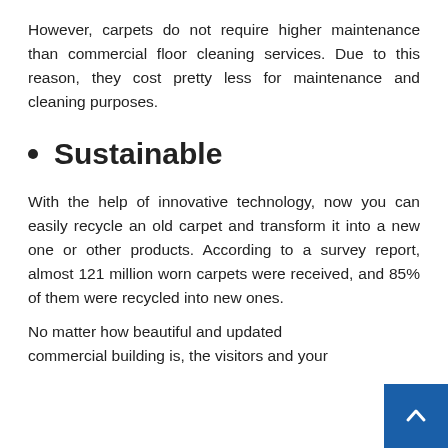However, carpets do not require higher maintenance than commercial floor cleaning services. Due to this reason, they cost pretty less for maintenance and cleaning purposes.
Sustainable
With the help of innovative technology, now you can easily recycle an old carpet and transform it into a new one or other products. According to a survey report, almost 121 million worn carpets were received, and 85% of them were recycled into new ones.
No matter how beautiful and updated commercial building is, the visitors and your